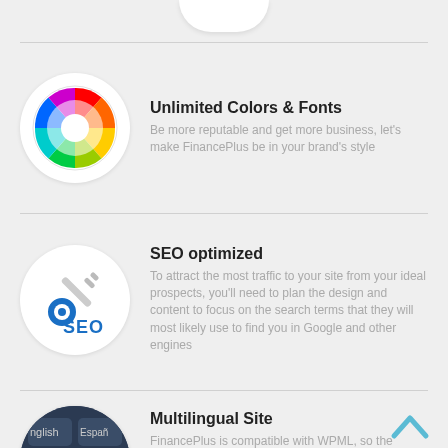[Figure (illustration): Partial white circle at top of page (cropped feature icon from previous section)]
[Figure (illustration): Color wheel inside white circle]
Unlimited Colors & Fonts
Be more reputable and get more business, let's make FinancePlus be in your brand's style
[Figure (illustration): SEO key and target logo inside white circle]
SEO optimized
To attract the most traffic to your site from your ideal prospects, you'll need to plan the design and content to focus on the search terms that they will most likely use to find you in Google and other engines
[Figure (illustration): Keyboard with language keys (English, Español, Translate) inside circle]
Multilingual Site
FinancePlus is compatible with WPML, so the language is not a border anymore